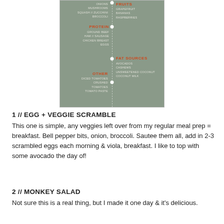[Figure (infographic): A grey infographic showing food categories: Fruits (Grapefruit, Bananas, Raspberries), Protein (Ground Beef, Ham // Sausage, Chicken Breast, Eggs), Fat Sources (Avocados, Cashews, Unsweetened Coconut, Coconut Milk), Other (Diced Tomatoes, Crushed Tomatoes, Tomato Paste), arranged with a dotted vertical line and category dot markers.]
1 // EGG + VEGGIE SCRAMBLE
This one is simple, any veggies left over from my regular meal prep = breakfast. Bell pepper bits, onion, broccoli. Sautee them all, add in 2-3 scrambled eggs each morning & viola, breakfast. I like to top with some avocado the day of!
2 // MONKEY SALAD
Not sure this is a real thing, but I made it one day & it's delicious.